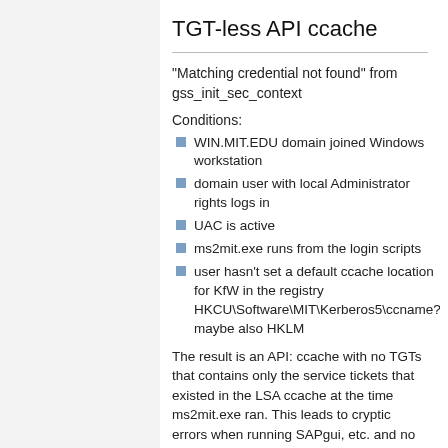TGT-less API ccache
"Matching credential not found" from gss_init_sec_context
Conditions:
WIN.MIT.EDU domain joined Windows workstation
domain user with local Administrator rights logs in
UAC is active
ms2mit.exe runs from the login scripts
user hasn't set a default ccache location for KfW in the registry HKCU\Software\MIT\Kerberos5\ccname? maybe also HKLM
The result is an API: ccache with no TGTs that contains only the service tickets that existed in the LSA ccache at the time ms2mit.exe ran. This leads to cryptic errors when running SAPgui, etc. and no prompting by Leash for a password to get fresh tickets. (If the API: ccache is empty, Leash should prompt.) We